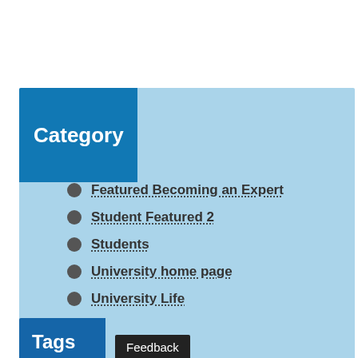Category
Featured Becoming an Expert
Student Featured 2
Students
University home page
University Life
Tags
Feedback